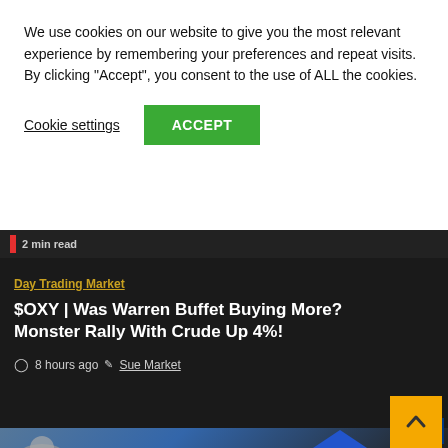We use cookies on our website to give you the most relevant experience by remembering your preferences and repeat visits. By clicking "Accept", you consent to the use of ALL the cookies.
Cookie settings  ACCEPT
2 min read
Day Trading Market
$OXY | Was Warren Buffet Buying More? Monster Rally With Crude Up 4%!
8 hours ago  Sue Market
[Figure (photo): Partial view of a financial news website showing a bull figurine and a blue upward arrow, with a TraderTV LIVE badge overlay in the bottom right corner.]